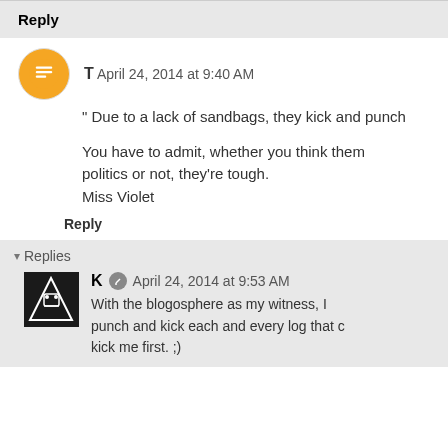Reply
T April 24, 2014 at 9:40 AM
" Due to a lack of sandbags, they kick and punch
You have to admit, whether you think them politics or not, they're tough.
Miss Violet
Reply
Replies
K April 24, 2014 at 9:53 AM
With the blogosphere as my witness, I punch and kick each and every log that c kick me first. ;)